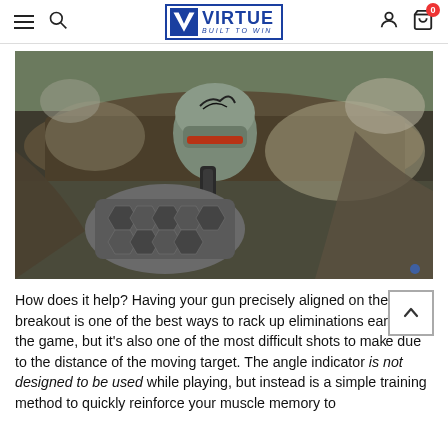VIRTUE BUILT TO WIN
[Figure (photo): First-person viewpoint of a paintball player crouched near a large tree root in a wooded outdoor setting. The player holds a paintball marker with a gloved hand wearing grey and black hexagon-patterned paintball gloves. Visible ahead is an opposing player wearing a grey paintball mask with a dark graphic design, partially sheltered behind tree roots. The scene is captured as if from the shooter's perspective.]
How does it help? Having your gun precisely aligned on the breakout is one of the best ways to rack up eliminations early in the game, but it's also one of the most difficult shots to make due to the distance of the moving target. The angle indicator is not designed to be used while playing, but instead is a simple training method to quickly reinforce your muscle memory to